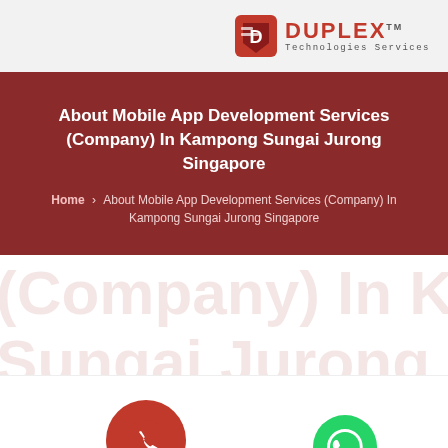[Figure (logo): Duplex Technologies Services logo with red shield icon, red 'DUPLEX' text and grey 'Technologies Services' subtitle]
About Mobile App Development Services (Company) In Kampong Sungai Jurong Singapore
Home > About Mobile App Development Services (Company) In Kampong Sungai Jurong Singapore
[Figure (illustration): Large faded red watermark text reading '(Company) In Kampong Sungai Jurong Singapore']
[Figure (illustration): Red circular phone call button icon]
[Figure (illustration): Green WhatsApp icon]